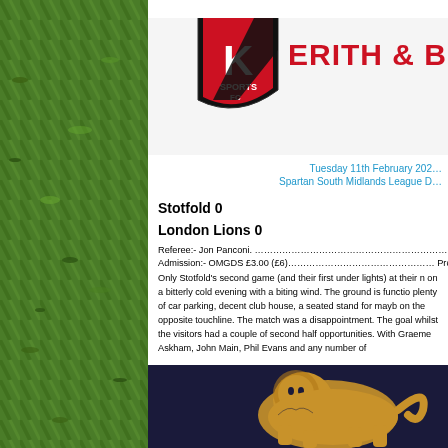[Figure (photo): Grass/turf background on left side of page]
[Figure (logo): FC Sports logo shield and 'ERITH & BEL' text header banner at top]
Tuesday 11th February 202...
Spartan South Midlands League D...
Stotfold 0
London Lions 0
Referee:- Jon Panconi. ………………………………………………………Att
Admission:- OMGDS £3.00 (£6)………………………………………… Prog
Only Stotfold's second game (and their first under lights) at their n on a bitterly cold evening with a biting wind. The ground is functio plenty of car parking, decent club house, a seated stand for mayb on the opposite touchline. The match was a disappointment. The goal whilst the visitors had a couple of second half opportunities. With Graeme Askham, John Main, Phil Evans and any number of
[Figure (photo): Dark navy background with golden lion crest at bottom of page]